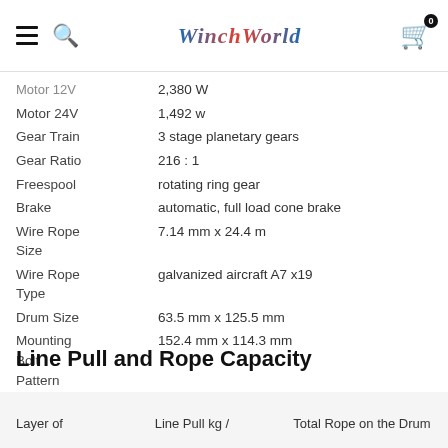WinchWorld — navigation header with hamburger menu, search icon, logo, and cart
| Attribute | Value |
| --- | --- |
| Motor 12V | 2,380 W |
| Motor 24V | 1,492 w |
| Gear Train | 3 stage planetary gears |
| Gear Ratio | 216 : 1 |
| Freespool | rotating ring gear |
| Brake | automatic, full load cone brake |
| Wire Rope Size | 7.14 mm x 24.4 m |
| Wire Rope Type | galvanized aircraft A7 x19 |
| Drum Size | 63.5 mm x 125.5 mm |
| Mounting Bolt Pattern | 152.4 mm x 114.3 mm |
Line Pull and Rope Capacity
Layer of    Line Pull kg /    Total Rope on the Drum